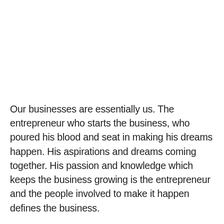Our businesses are essentially us. The entrepreneur who starts the business, who poured his blood and seat in making his dreams happen. His aspirations and dreams coming together. His passion and knowledge which keeps the business growing is the entrepreneur and the people involved to make it happen defines the business.